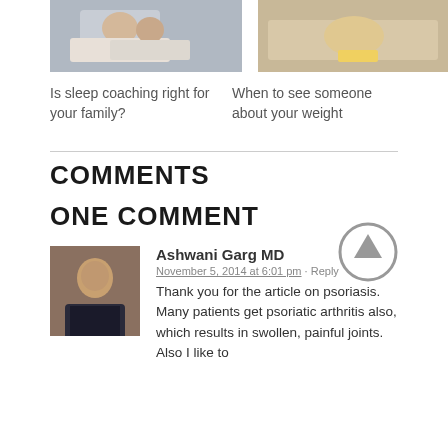[Figure (photo): Photo of a person sleeping in bed, related to sleep coaching]
Is sleep coaching right for your family?
[Figure (photo): Photo of a person with measuring tape, related to weight management]
When to see someone about your weight
COMMENTS
ONE COMMENT
[Figure (illustration): Upward arrow icon in a circle]
[Figure (photo): Portrait photo of Ashwani Garg MD]
Ashwani Garg MD
November 5, 2014 at 6:01 pm · Reply
Thank you for the article on psoriasis. Many patients get psoriatic arthritis also, which results in swollen, painful joints. Also I like to